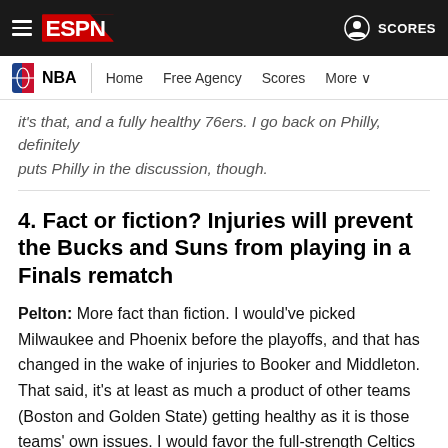ESPN - NBA - Home Free Agency Scores More - SCORES
...and a fully healthy 76ers. I go back on Philly... puts Philly in the discussion, though.
4. Fact or fiction? Injuries will prevent the Bucks and Suns from playing in a Finals rematch
Pelton: More fact than fiction. I would've picked Milwaukee and Phoenix before the playoffs, and that has changed in the wake of injuries to Booker and Middleton. That said, it's at least as much a product of other teams (Boston and Golden State) getting healthy as it is those teams' own issues. I would favor the full-strength Celtics over the full-strength Bucks.